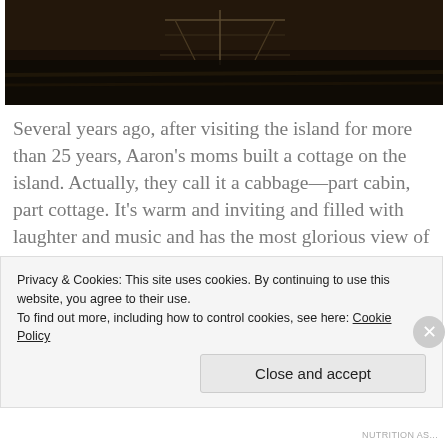[Figure (photo): Dark nighttime photo of a dock or pier structure over water, dimly lit]
Several years ago, after visiting the island for more than 25 years, Aaron’s moms built a cottage on the island. Actually, they call it a cabbage—part cabin, part cottage. It’s warm and inviting and filled with laughter and music and has the most glorious view of the ocean. I love to sit out on the deck with the family, talking, drinking wine and watching the sunset. Even as we chat about this or that, we are each in the moment, recognizing the specialness of where we are,
Privacy & Cookies: This site uses cookies. By continuing to use this website, you agree to their use.
To find out more, including how to control cookies, see here: Cookie Policy
Close and accept
NUTRITION AS...